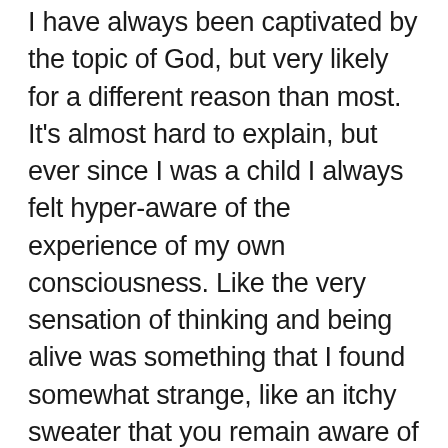I have always been captivated by the topic of God, but very likely for a different reason than most. It's almost hard to explain, but ever since I was a child I always felt hyper-aware of the experience of my own consciousness. Like the very sensation of thinking and being alive was something that I found somewhat strange, like an itchy sweater that you remain aware of as long as you are wearing it. My experiential vantage point always seemed to point to the existence of a higher power. How else, I reasoned, would the sensation of consciousness ever arise? I began reading books about consciousness—starting with Hofstadter's classic Gödel, Escher Bach: An Eternal Golden Braid about recursive thinking, and then moved on to